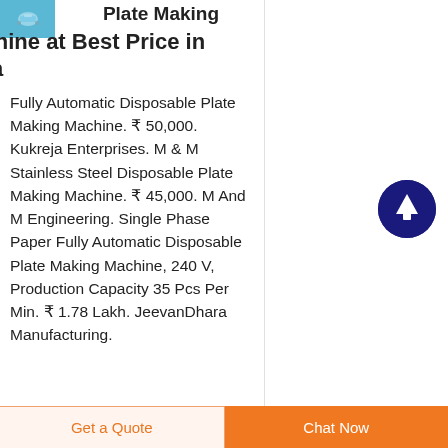[Figure (photo): Small thumbnail image of a disposable plate making machine, blue/teal background]
Plate Making Machine at Best Price in India
Fully Automatic Disposable Plate Making Machine. ₹ 50,000. Kukreja Enterprises. M & M Stainless Steel Disposable Plate Making Machine. ₹ 45,000. M And M Engineering. Single Phase Paper Fully Automatic Disposable Plate Making Machine, 240 V, Production Capacity 35 Pcs Per Min. ₹ 1.78 Lakh. JeevanDhara Manufacturing.
[Figure (illustration): Scroll-to-top circular button with upward arrow, dark navy blue background]
Get a Quote
Chat Now